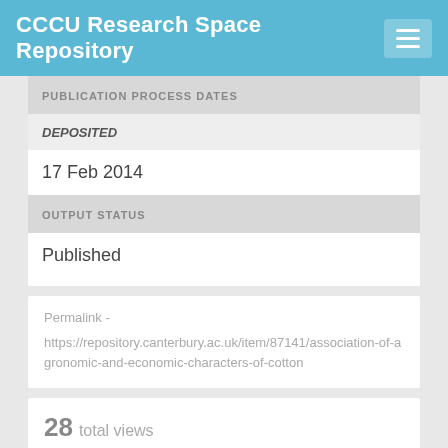CCCU Research Space Repository
PUBLICATION PROCESS DATES
DEPOSITED
17 Feb 2014
OUTPUT STATUS
Published
Permalink - https://repository.canterbury.ac.uk/item/87141/association-of-agronomic-and-economic-characters-of-cotton
28  total views